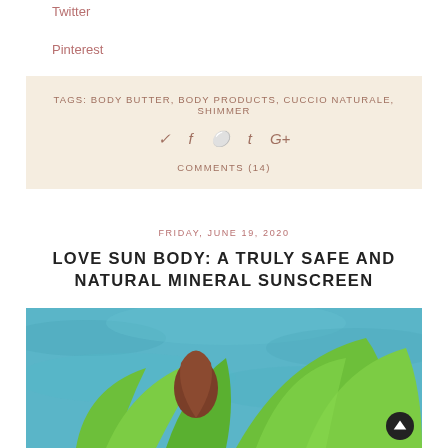Twitter
Pinterest
TAGS: BODY BUTTER, BODY PRODUCTS, CUCCIO NATURALE, SHIMMER
Social icons: twitter, facebook, pinterest, tumblr, google+
COMMENTS (14)
FRIDAY, JUNE 19, 2020
LOVE SUN BODY: A TRULY SAFE AND NATURAL MINERAL SUNSCREEN
[Figure (photo): Photo of a person wearing a green swimsuit holding a sunscreen bottle by a blue pool]